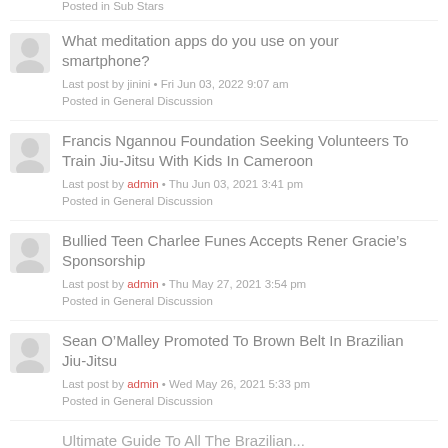Posted in Sub Stars
What meditation apps do you use on your smartphone?
Last post by jinini • Fri Jun 03, 2022 9:07 am
Posted in General Discussion
Francis Ngannou Foundation Seeking Volunteers To Train Jiu-Jitsu With Kids In Cameroon
Last post by admin • Thu Jun 03, 2021 3:41 pm
Posted in General Discussion
Bullied Teen Charlee Funes Accepts Rener Gracie's Sponsorship
Last post by admin • Thu May 27, 2021 3:54 pm
Posted in General Discussion
Sean O'Malley Promoted To Brown Belt In Brazilian Jiu-Jitsu
Last post by admin • Wed May 26, 2021 5:33 pm
Posted in General Discussion
...